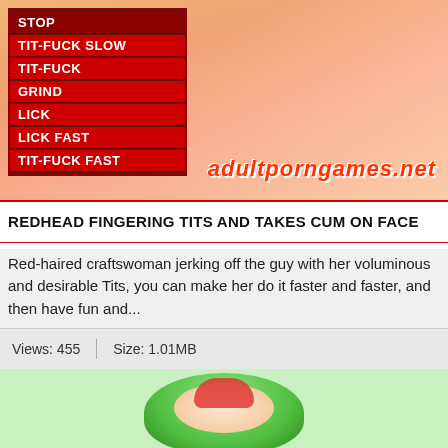[Figure (illustration): Animated/cartoon adult game screenshot showing a red-haired character with a menu overlay on the left listing options: STOP, TIT-FUCK SLOW, TIT-FUCK, GRIND, LICK, LICK FAST, TIT-FUCK FAST. Watermark reads adultporngames.net]
REDHEAD FINGERING TITS AND TAKES CUM ON FACE
Red-haired craftswoman jerking off the guy with her voluminous and desirable Tits, you can make her do it faster and faster, and then have fun and...
Views: 455   Size: 1.01MB
[Figure (illustration): Partial view of another animated character wearing green at the bottom of the page]